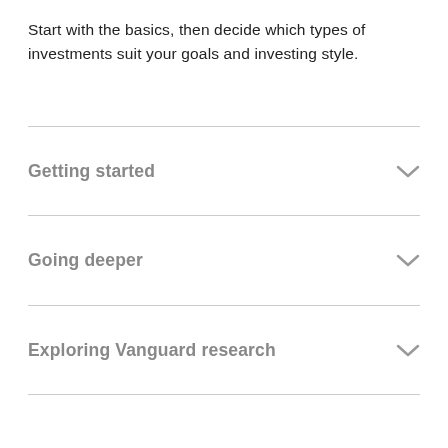Start with the basics, then decide which types of investments suit your goals and investing style.
Getting started
Going deeper
Exploring Vanguard research